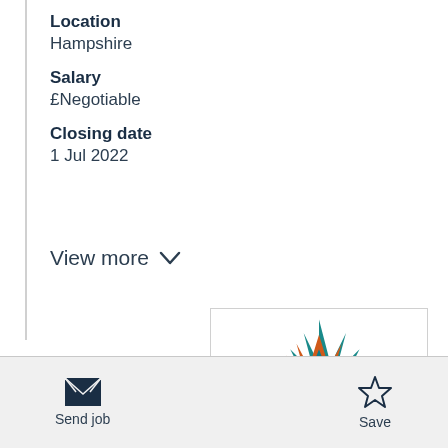Location
Hampshire
Salary
£Negotiable
Closing date
1 Jul 2022
View more
[Figure (logo): Starburst/explosion logo with teal, orange, and white colors]
Send job
Save